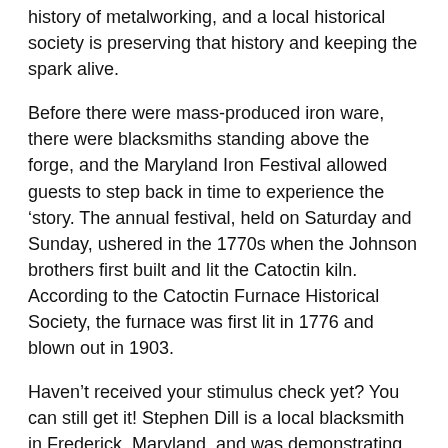history of metalworking, and a local historical society is preserving that history and keeping the spark alive.
Before there were mass-produced iron ware, there were blacksmiths standing above the forge, and the Maryland Iron Festival allowed guests to step back in time to experience the ‘story. The annual festival, held on Saturday and Sunday, ushered in the 1770s when the Johnson brothers first built and lit the Catoctin kiln. According to the Catoctin Furnace Historical Society, the furnace was first lit in 1776 and blown out in 1903.
Haven’t received your stimulus check yet? You can still get it! Stephen Dill is a local blacksmith in Frederick, Maryland, and was demonstrating blacksmithing techniques for festival-goers. He says blacksmiths were the first recyclers, reusing old metal or scrap metal to make new parts or tools.
“At the time, we didn’t import all of our tools from China. We had to make them here,” Dill explained. “They made the tools that